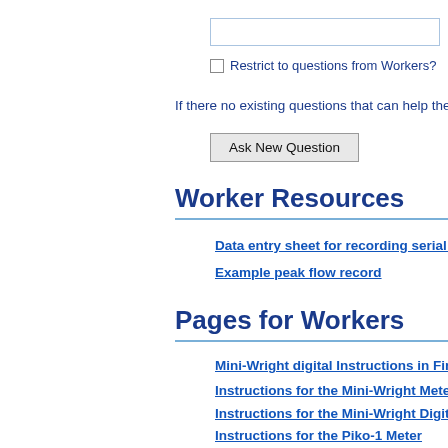Restrict to questions from Workers?
If there no existing questions that can help then y
Ask New Question
Worker Resources
Data entry sheet for recording serial pe
Example peak flow record
Pages for Workers
Mini-Wright digital Instructions in Finni
Instructions for the Mini-Wright Meter
Instructions for the Mini-Wright Digital
Instructions for the Piko-1 Meter
Instructions for using the Vitalograph P